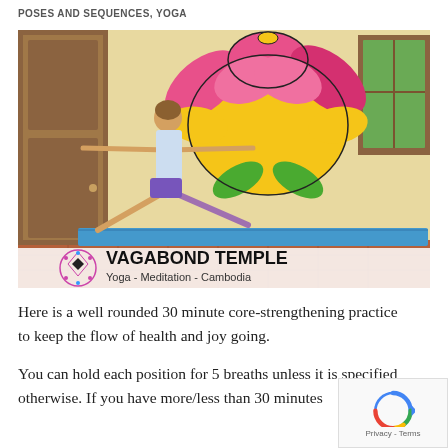POSES AND SEQUENCES, YOGA
[Figure (photo): Woman performing Warrior II yoga pose on a blue mat in front of a building wall decorated with a colorful lotus flower mural. Overlay at bottom shows VAGABOND TEMPLE logo with text 'Yoga - Meditation - Cambodia'.]
Here is a well rounded 30 minute core-strengthening practice to keep the flow of health and joy going.
You can hold each position for 5 breaths unless it is specified otherwise. If you have more/less than 30 minutes